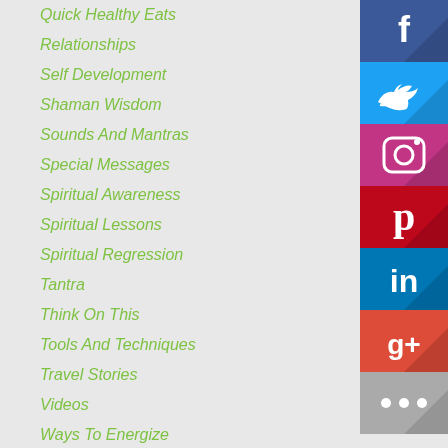Quick Healthy Eats
Relationships
Self Development
Shaman Wisdom
Sounds And Mantras
Special Messages
Spiritual Awareness
Spiritual Lessons
Spiritual Regression
Tantra
Think On This
Tools And Techniques
Travel Stories
Videos
Ways To Energize
Ways To Relax
Wellness
Yoga
[Figure (infographic): Social media icon buttons: Facebook (dark blue), Twitter (cyan), Instagram (pink/magenta), Pinterest (red), LinkedIn (blue), Google+ (red-orange), More/ellipsis (gray)]